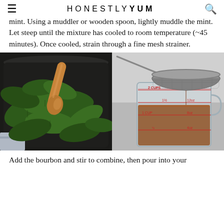HONESTLY YUM
mint. Using a muddler or wooden spoon, lightly muddle the mint. Let steep until the mixture has cooled to room temperature (~45 minutes). Once cooled, strain through a fine mesh strainer.
[Figure (photo): Two side-by-side food preparation photos: left shows fresh mint leaves in a dark pot with a wooden spoon; right shows amber liquid being strained through a fine mesh strainer into a glass measuring cup showing 2 CUPS / 16oz markings]
Add the bourbon and stir to combine, then pour into your